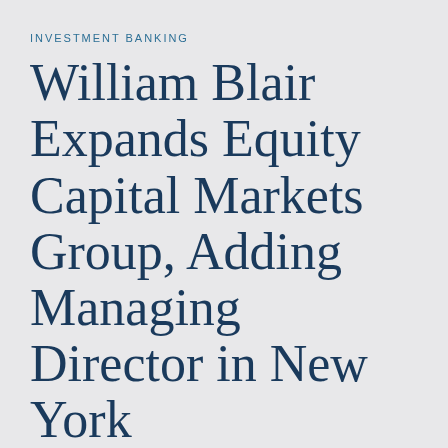INVESTMENT BANKING
William Blair Expands Equity Capital Markets Group, Adding Managing Director in New York